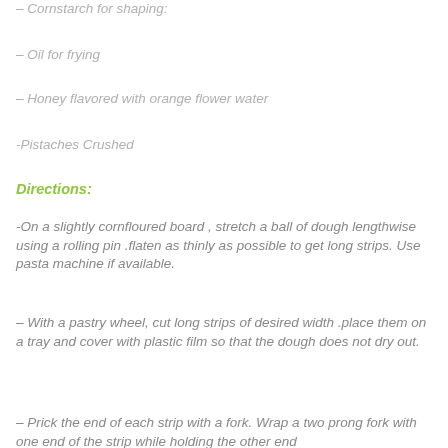– Cornstarch for shaping:
– Oil for frying
– Honey flavored with orange flower water
-Pistaches Crushed
Directions:
-On a slightly cornfloured board , stretch a ball of dough lengthwise using a rolling pin .flaten as thinly as possible to get long strips. Use pasta machine if available.
– With a pastry wheel, cut long strips of desired width .place them on a tray and cover with plastic film so that the dough does not dry out.
– Prick the end of each strip with a fork. Wrap a two prong fork with one end of the strip while holding the other end